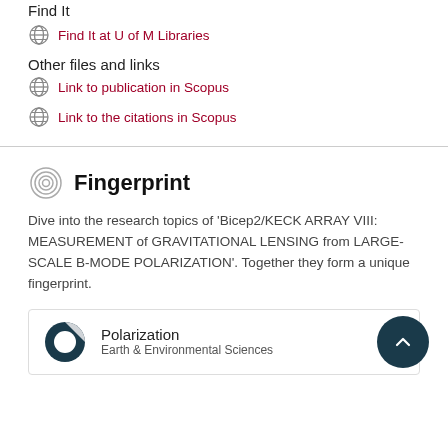Find It
Find It at U of M Libraries
Other files and links
Link to publication in Scopus
Link to the citations in Scopus
Fingerprint
Dive into the research topics of 'Bicep2/KECK ARRAY VIII: MEASUREMENT of GRAVITATIONAL LENSING from LARGE-SCALE B-MODE POLARIZATION'. Together they form a unique fingerprint.
Polarization — Earth & Environmental Sciences